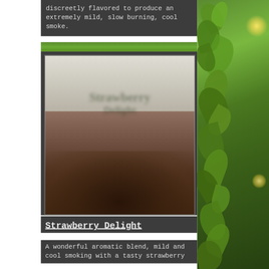discreetly flavored to produce an extremely mild, slow burning, cool smoke.
[Figure (photo): A blurred product photo showing what appears to be a tobacco or herbal product package with dark brown/olive coloring against a light background.]
Strawberry Delight
A wonderful aromatic blend, mild and cool smoking with a tasty strawberry